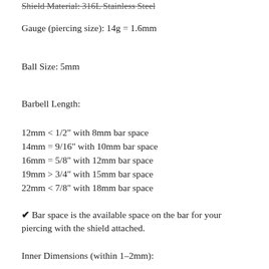Shield Material: 316L Stainless Steel
Gauge (piercing size): 14g = 1.6mm
Ball Size: 5mm
Barbell Length:
12mm < 1/2" with 8mm bar space
14mm = 9/16" with 10mm bar space
16mm = 5/8" with 12mm bar space
19mm > 3/4" with 15mm bar space
22mm < 7/8" with 18mm bar space
✔ Bar space is the available space on the bar for your piercing with the shield attached.
Inner Dimensions (within 1–2mm):